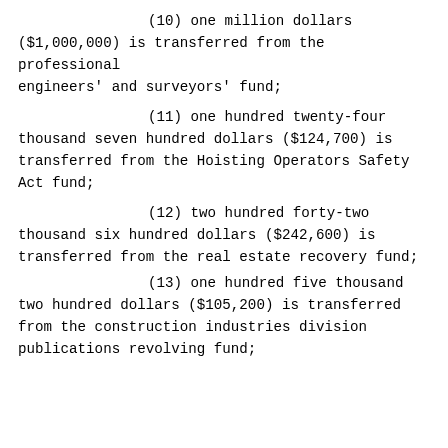(10) one million dollars ($1,000,000) is transferred from the professional engineers' and surveyors' fund;
(11) one hundred twenty-four thousand seven hundred dollars ($124,700) is transferred from the Hoisting Operators Safety Act fund;
(12) two hundred forty-two thousand six hundred dollars ($242,600) is transferred from the real estate recovery fund;
(13) one hundred five thousand two hundred dollars ($105,200) is transferred from the construction industries division publications revolving fund;